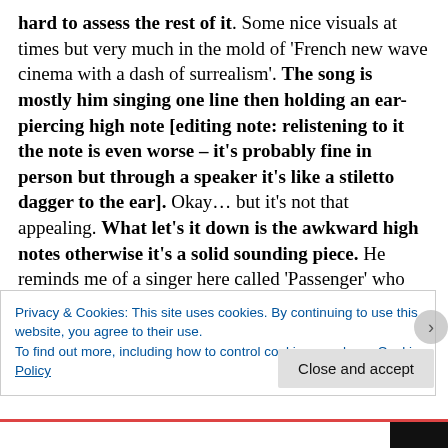hard to assess the rest of it. Some nice visuals at times but very much in the mold of 'French new wave cinema with a dash of surrealism'. The song is mostly him singing one line then holding an ear-piercing high note [editing note: relistening to it the note is even worse – it's probably fine in person but through a speaker it's like a stiletto dagger to the ear]. Okay… but it's not that appealing. What let's it down is the awkward high notes otherwise it's a solid sounding piece. He reminds me of a singer here called 'Passenger' who has a high voice and both have good songs ruined by their voices which don't really fit the style and
Privacy & Cookies: This site uses cookies. By continuing to use this website, you agree to their use.
To find out more, including how to control cookies, see here: Cookie Policy